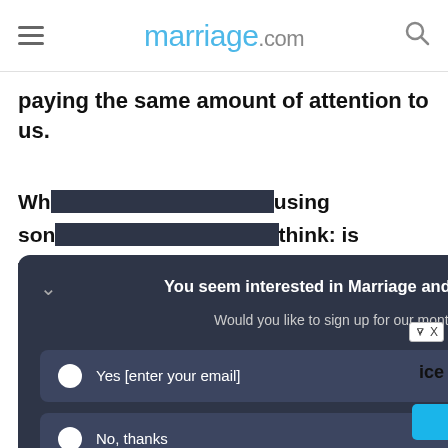marriage.com
paying the same amount of attention to us.
Wh... using some... think: is this...
[Figure (screenshot): Dark modal popup from ProProfs Qualaroo asking 'You seem interested in Marriage and Relationship Advice. Would you like to sign up for our monthly newsletter?' with Yes/No options and a SEND button.]